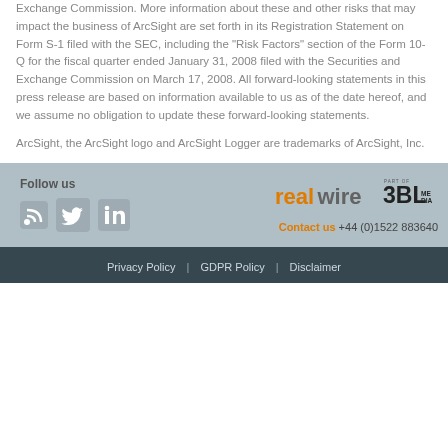Exchange Commission. More information about these and other risks that may impact the business of ArcSight are set forth in its Registration Statement on Form S-1 filed with the SEC, including the "Risk Factors" section of the Form 10-Q for the fiscal quarter ended January 31, 2008 filed with the Securities and Exchange Commission on March 17, 2008. All forward-looking statements in this press release are based on information available to us as of the date hereof, and we assume no obligation to update these forward-looking statements.
ArcSight, the ArcSight logo and ArcSight Logger are trademarks of ArcSight, Inc.
Follow us | realwire | PART OF 3BL MEDIA | Contact us +44 (0)1522 883640
Privacy Policy | GDPR Policy | Disclaimer